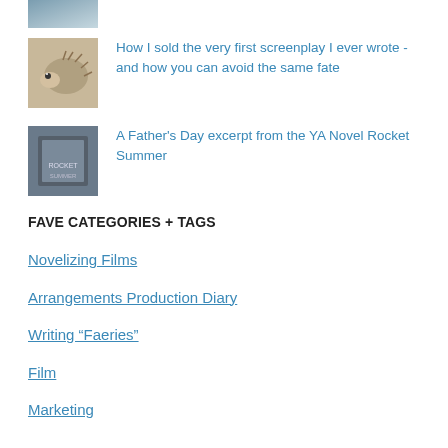[Figure (photo): Partial thumbnail image at top, partially cropped]
How I sold the very first screenplay I ever wrote - and how you can avoid the same fate
A Father's Day excerpt from the YA Novel Rocket Summer
FAVE CATEGORIES + TAGS
Novelizing Films
Arrangements Production Diary
Writing “Faeries”
Film
Marketing